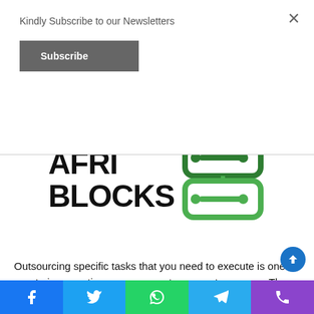Kindly Subscribe to our Newsletters
Subscribe
×
[Figure (logo): AfriBlocks logo — bold black text 'AFRI BLOCKS' with a green circuit/network icon on the right side]
Outsourcing specific tasks that you need to execute is one way to improve time management as an entrepreneur. The process of contracting or finding someone competent enough to undertake and complete the task may be demanding, which
Facebook · Twitter · WhatsApp · Telegram · Phone